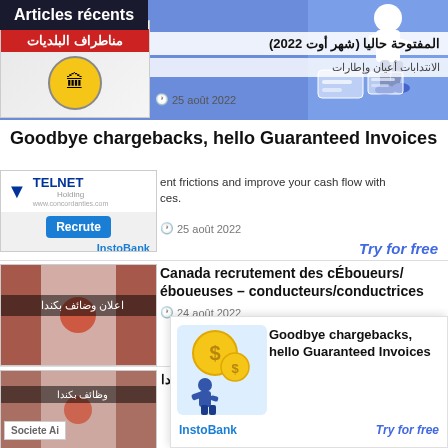Articles récents
[Figure (illustration): Blue background illustration with person figure and credit card elements, top right area]
[Figure (illustration): Municipality logo with red Arabic text banner and yellow emblem]
المفتوحة حاليا (شهر أوت 2022)
الانتدابات أعيان وإطارات
25 août 2022
Goodbye chargebacks, hello Guaranteed Invoices
[Figure (logo): Telnet Holding logo with blue V symbol and Recrute button]
ent frictions and improve your cash flow with ces.
25 août 2022
Try for free
Canada recrutement des cÉboueurs/éboueuses – conducteurs/conductrices
[Figure (photo): Canadian flag blurred background with Arabic text اعلان وضائف بكندا]
24 août 2022
[Figure (photo): Canadian flag blurred background with Arabic text وظائف بكندا]
جمعيات ربية تساعدك على العثور على عمل بكندا
[Figure (illustration): Bottom ad overlay: Goodbye chargebacks illustration with dollar coin and man figure]
Goodbye chargebacks, hello Guaranteed Invoices
InstoBank
Try for free